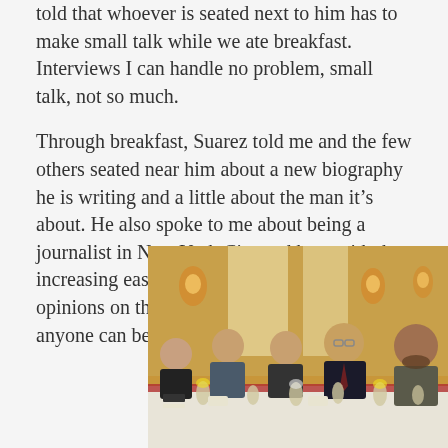told that whoever is seated next to him has to make small talk while we ate breakfast. Interviews I can handle no problem, small talk, not so much.
Through breakfast, Suarez told me and the few others seated near him about a new biography he is writing and a little about the man it's about. He also spoke to me about being a journalist in New York City and how with the increasing ease of posting blogs, articles and opinions on the Internet, it seems as though anyone can be a journalist.
[Figure (photo): A group of five people seated at a long table set for a formal breakfast or dinner, in an ornate room with warm lighting. People include a woman on the far left, a young man in a suit, a young woman, an older man with glasses and a beard wearing a dark suit, and a young man on the far right. Glasses of orange juice and water are on the table.]